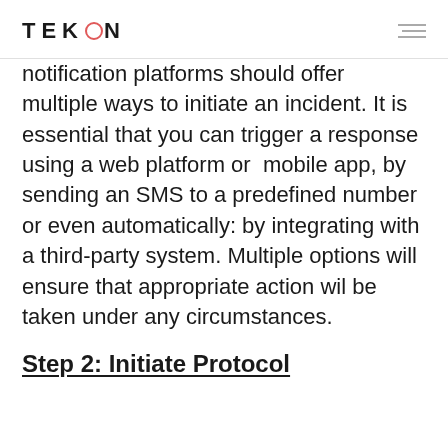TEKMON
notification platforms should offer multiple ways to initiate an incident. It is essential that you can trigger a response  using a web platform or  mobile app, by sending an SMS to a predefined number or even automatically: by integrating with a third-party system. Multiple options will ensure that appropriate action wil be taken under any circumstances.
Step 2: Initiate Protocol